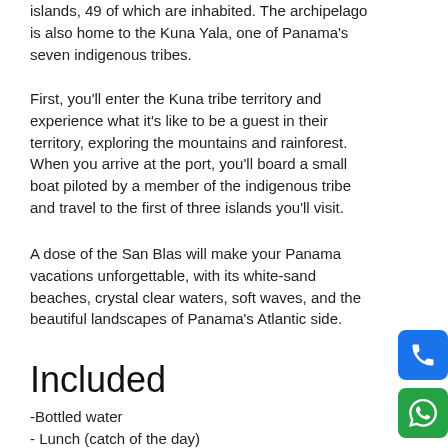islands, 49 of which are inhabited. The archipelago is also home to the Kuna Yala, one of Panama's seven indigenous tribes.
First, you'll enter the Kuna tribe territory and experience what it's like to be a guest in their territory, exploring the mountains and rainforest. When you arrive at the port, you'll board a small boat piloted by a member of the indigenous tribe and travel to the first of three islands you'll visit.
A dose of the San Blas will make your Panama vacations unforgettable, with its white-sand beaches, crystal clear waters, soft waves, and the beautiful landscapes of Panama's Atlantic side.
Included
-Bottled water
- Lunch (catch of the day)